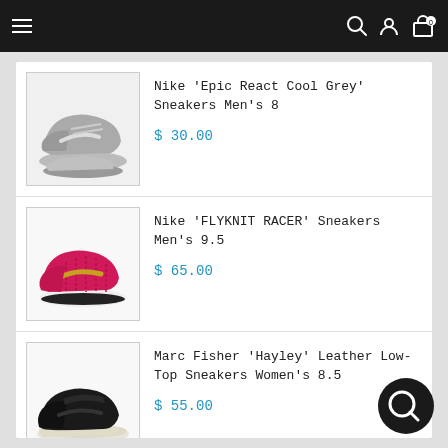Navigation bar with menu, search, account, and cart icons
[Figure (photo): Nike Epic React Cool Grey sneakers - pair of grey running shoes]
Nike 'Epic React Cool Grey' Sneakers Men's 8
$ 30.00
[Figure (photo): Nike Flyknit Racer sneakers - pink/magenta running shoes]
Nike 'FLYKNIT RACER' Sneakers Men's 9.5
$ 65.00
[Figure (photo): Marc Fisher Hayley black leather low-top sneakers]
Marc Fisher 'Hayley' Leather Low-Top Sneakers Women's 8.5
$ 55.00